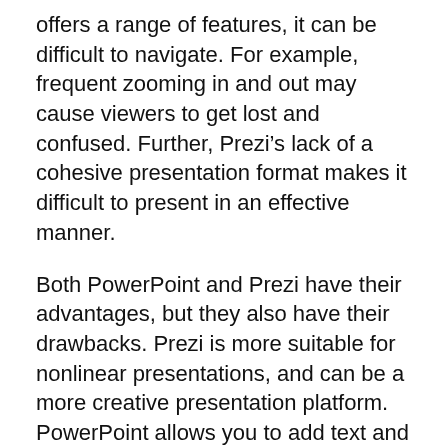offers a range of features, it can be difficult to navigate. For example, frequent zooming in and out may cause viewers to get lost and confused. Further, Prezi’s lack of a cohesive presentation format makes it difficult to present in an effective manner.
Both PowerPoint and Prezi have their advantages, but they also have their drawbacks. Prezi is more suitable for nonlinear presentations, and can be a more creative presentation platform. PowerPoint allows you to add text and images to your slides, while Prezi allows you to zoom in and out. It also lets you add videos and sounds. Despite the limitations of Prezi, it is still a great tool for many professionals.